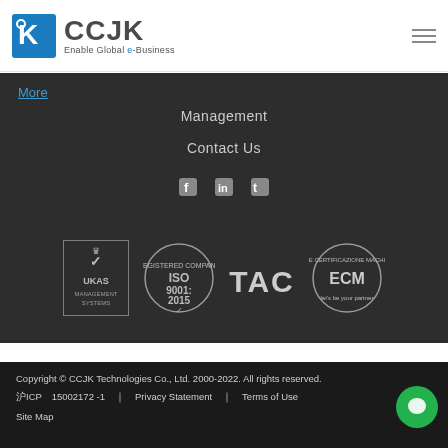CCJK - Enable Global e-Business
More
Management
Contact Us
[Figure (logo): Social media icons: Facebook, LinkedIn, Twitter]
[Figure (logo): Certification logos: UKAS Management Systems, ISO 9001:2015, TAC, ECM]
Copyright © CCJK Technologies Co., Ltd. 2000-2022. All rights reserved. 沪ICP 15002172 -1 | Privacy Statement | Terms of Use Site Map